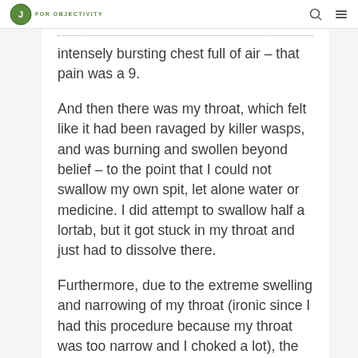FOR OBJECTIVITY
intensely bursting chest full of air – that pain was a 9.
And then there was my throat, which felt like it had been ravaged by killer wasps, and was burning and swollen beyond belief – to the point that I could not swallow my own spit, let alone water or medicine. I did attempt to swallow half a lortab, but it got stuck in my throat and just had to dissolve there.
Furthermore, due to the extreme swelling and narrowing of my throat (ironic since I had this procedure because my throat was too narrow and I choked a lot), the air trapped in my chest could not find any